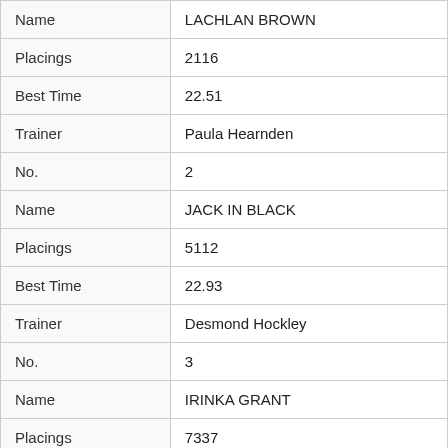| Field | Value |
| --- | --- |
| Name | LACHLAN BROWN |
| Placings | 2116 |
| Best Time | 22.51 |
| Trainer | Paula Hearnden |
| No. | 2 |
| Name | JACK IN BLACK |
| Placings | 5112 |
| Best Time | 22.93 |
| Trainer | Desmond Hockley |
| No. | 3 |
| Name | IRINKA GRANT |
| Placings | 7337 |
| Best Time | 22.59 |
| Trainer | Robert Isaacson |
| No. | 4 |
| Name | GUNNER MOLLOY |
| Placings | 3132 |